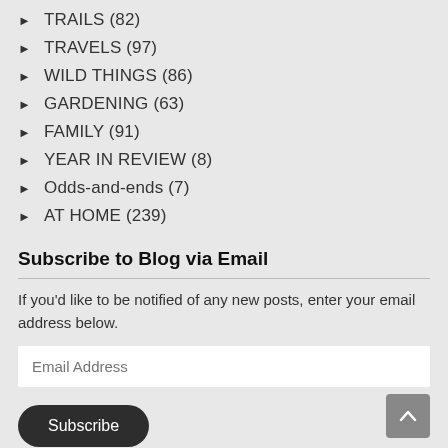► TRAILS (82)
► TRAVELS (97)
► WILD THINGS (86)
► GARDENING (63)
► FAMILY (91)
► YEAR IN REVIEW (8)
► Odds-and-ends (7)
► AT HOME (239)
Subscribe to Blog via Email
If you'd like to be notified of any new posts, enter your email address below.
Email Address
Subscribe